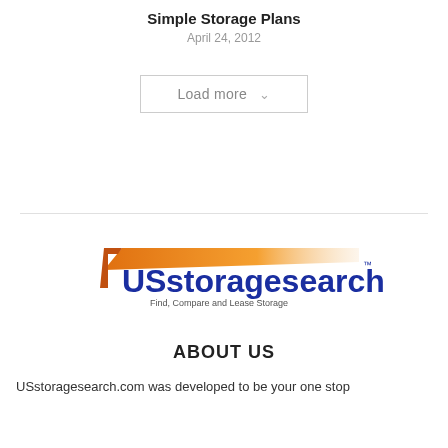Simple Storage Plans
April 24, 2012
Load more
[Figure (logo): USstoragesearch.com logo with orange roof graphic and tagline 'Find, Compare and Lease Storage']
ABOUT US
USstoragesearch.com was developed to be your one stop